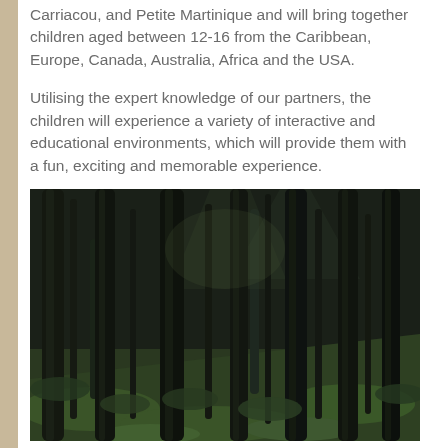Carriacou, and Petite Martinique and will bring together children aged between 12-16 from the Caribbean, Europe, Canada, Australia, Africa and the USA.
Utilising the expert knowledge of our partners, the children will experience a variety of interactive and educational environments, which will provide them with a fun, exciting and memorable experience.
[Figure (photo): A dense dark forest with tall slender tree trunks and green moss-covered ground, taken in low light.]
Project 2. Delegate